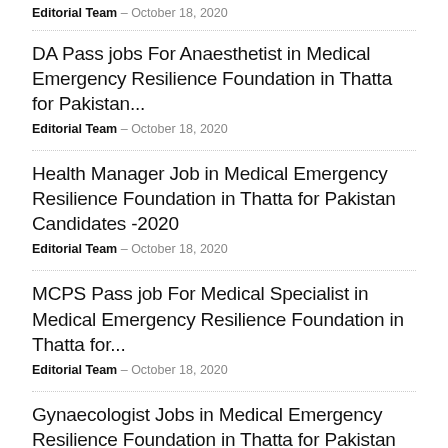Editorial Team – October 18, 2020
DA Pass jobs For Anaesthetist in Medical Emergency Resilience Foundation in Thatta for Pakistan...
Editorial Team – October 18, 2020
Health Manager Job in Medical Emergency Resilience Foundation in Thatta for Pakistan Candidates -2020
Editorial Team – October 18, 2020
MCPS Pass job For Medical Specialist in Medical Emergency Resilience Foundation in Thatta for...
Editorial Team – October 18, 2020
Gynaecologist Jobs in Medical Emergency Resilience Foundation in Thatta for Pakistan Candidates -2020